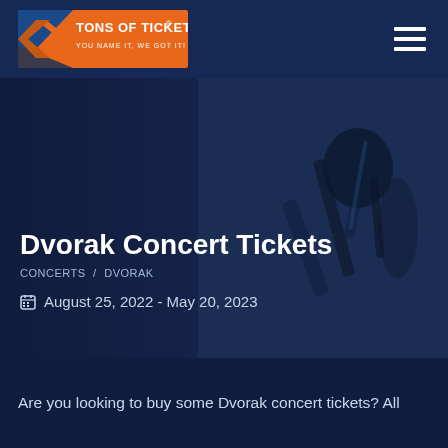[Figure (logo): Tons of Tickets logo with orange/blue X chevron graphic and text 'TONS OF TICKETS® YOU NAME IT, WE GOT IT!']
Dvorak Concert Tickets
CONCERTS / DVORAK
August 25, 2022 - May 20, 2023
Are you looking to buy some Dvorak concert tickets? All